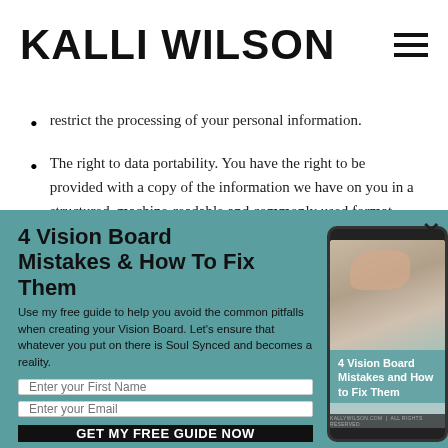KALLI WILSON
restrict the processing of your personal information.
The right to data portability. You have the right to be provided with a copy of the information we have on you in a structured, machine-readable and commonly used format.
The right to object...
[Figure (screenshot): Pop-up modal with teal/dark teal background. Left side contains title '4 Vision Board Mistakes & How To Fix Them', descriptive text, two form inputs (First Name, Email), and a black CTA button 'GET MY FREE GUIDE NOW'. Right side shows a tablet mockup displaying a book cover '4 Vision Board Mistakes and How to Fix Them'. A close button X is in the top-right corner.]